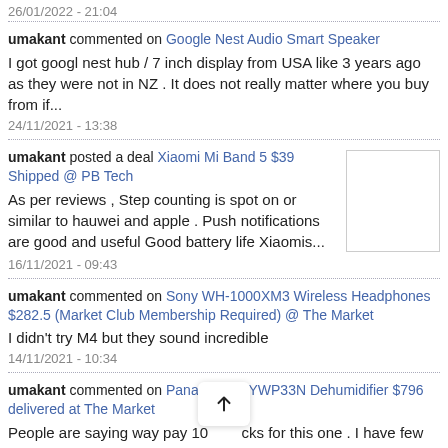26/01/2022 - 21:04
umakant commented on Google Nest Audio Smart Speaker
I got googl nest hub / 7 inch display from USA like 3 years ago as they were not in NZ . It does not really matter where you buy from if...
24/11/2021 - 13:38
umakant posted a deal Xiaomi Mi Band 5 $39 Shipped @ PB Tech
As per reviews , Step counting is spot on or similar to hauwei and apple . Push notifications are good and useful Good battery life Xiaomis...
16/11/2021 - 09:43
umakant commented on Sony WH-1000XM3 Wireless Headphones $282.5 (Market Club Membership Required) @ The Market
I didn't try M4 but they sound incredible
14/11/2021 - 10:34
umakant commented on Panasonic F-YWP33N Dehumidifier $796 delivered at The Market
People are saying way pay 10 cks for this one . I have few